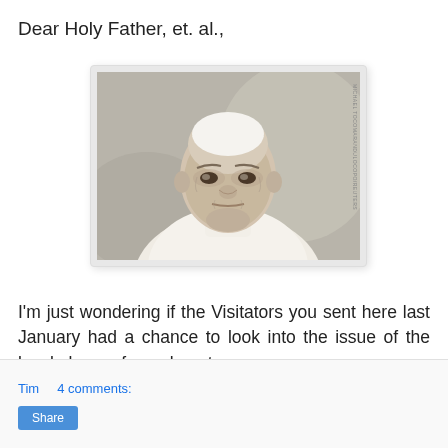Dear Holy Father, et. al.,
[Figure (photo): Close-up photograph of Pope Francis in white papal vestments and zucchetto, looking forward with a serious expression. The image has a watermark on the right side.]
I'm just wondering if the Visitators you sent here last January had a chance to look into the issue of the local abuse of annulments.
Tim    4 comments:
Share